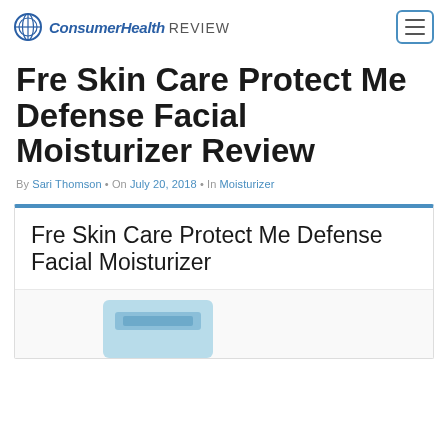ConsumerHealth REVIEW
Fre Skin Care Protect Me Defense Facial Moisturizer Review
By Sari Thomson • On July 20, 2018 • In Moisturizer
Fre Skin Care Protect Me Defense Facial Moisturizer
[Figure (photo): Partial view of Fre Skin Care Protect Me Defense Facial Moisturizer product image]